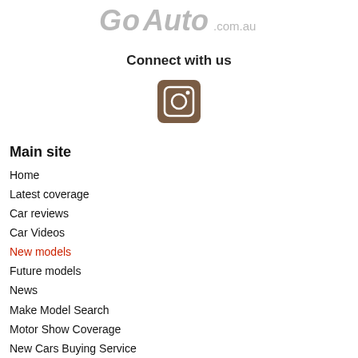[Figure (logo): GoAuto.com.au logo in grey italic text]
Connect with us
[Figure (logo): Instagram icon - brown/dark square with camera icon]
Main site
Home
Latest coverage
Car reviews
Car Videos
New models
Future models
News
Make Model Search
Motor Show Coverage
New Cars Buying Service
Sitemap